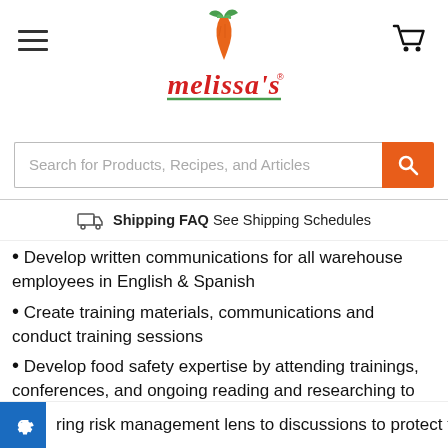[Figure (logo): Melissa's brand logo with carrot illustration and red stylized text]
Search for Products, Recipes, and Articles
Shipping FAQ See Shipping Schedules
Develop written communications for all warehouse employees in English & Spanish
Create training materials, communications and conduct training sessions
Develop food safety expertise by attending trainings, conferences, and ongoing reading and researching to enhance organizational food safety knowledge
Possess a strong understanding of products and their specifications
Possess good analytical skills
ring risk management lens to discussions to protect the